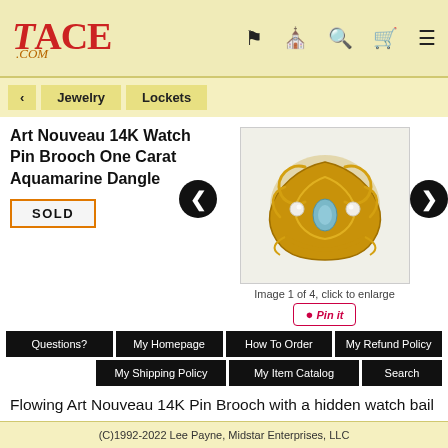TACE .COM
< Jewelry Lockets
Art Nouveau 14K Watch Pin Brooch One Carat Aquamarine Dangle
SOLD
[Figure (photo): Art Nouveau 14K watch pin brooch with aquamarine dangle, gold colored with floral motifs and pearl accents]
Image 1 of 4, click to enlarge
Pin it
Questions? | My Homepage | How To Order | My Refund Policy | My Shipping Policy | My Item Catalog | Search
Flowing Art Nouveau 14K Pin Brooch with a hidden watch bail has a beautiful, one carat, genuine aquamarine dangle. So reflective of gentler times gone by when flourishing curves and idealized women reigned supreme in jewelry as in art.
(C)1992-2022 Lee Payne, Midstar Enterprises, LLC